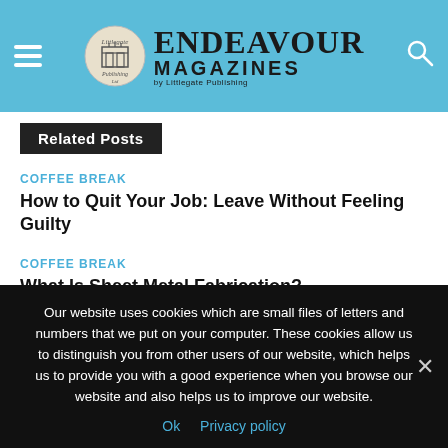ENDEAVOUR MAGAZINES by Littlegate Publishing
Related Posts
COFFEE BREAK
How to Quit Your Job: Leave Without Feeling Guilty
COFFEE BREAK
What Is Sheet Metal Fabrication?
COFFEE BREAK
How to Choose Construction Management Services: What You Need to Know
Our website uses cookies which are small files of letters and numbers that we put on your computer. These cookies allow us to distinguish you from other users of our website, which helps us to provide you with a good experience when you browse our website and also helps us to improve our website.
Ok   Privacy policy